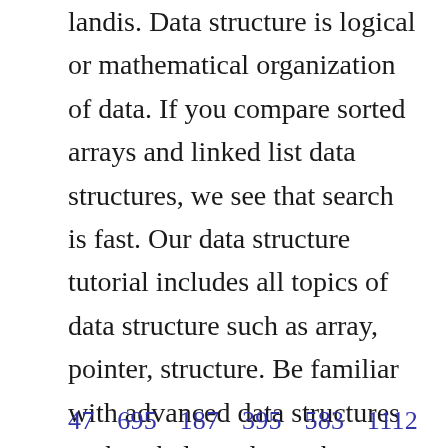landis. Data structure is logical or mathematical organization of data. If you compare sorted arrays and linked list data structures, we see that search is fast. Our data structure tutorial includes all topics of data structure such as array, pointer, structure. Be familiar with advanced data structures such as balanced search trees, avl trees, and b trees. Many keys stored in a node all brought to memorycache in one disk access. Section 4 gives the background and solution code in java.
47    695    187    395    583    1112